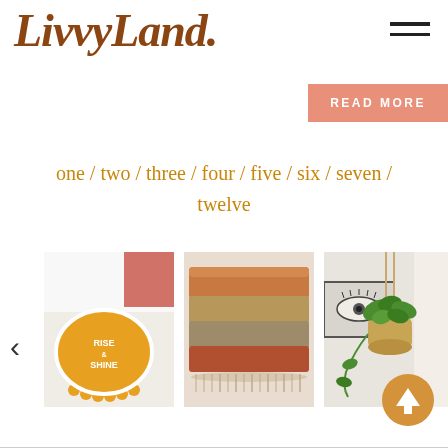LivvyLand.
[Figure (logo): LivvyLand. brand logo in dark brown serif italic font with hamburger menu icon on right]
[Figure (screenshot): READ MORE button in salmon/terracotta pink color]
one / two / three / four / five / six / seven / twelve
[Figure (photo): Yellow bath mat with RISE & SHINE text in white, semicircular sun shape with scalloped edges]
[Figure (photo): Stack of folded towels/blankets in warm tones of orange, tan, and red with fringe]
[Figure (photo): Hanging plant in a macrame/rope basket planter near a window, with a framed eye illustration on wall]